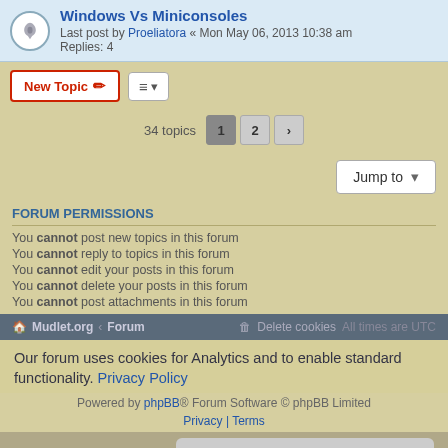Windows Vs Miniconsoles — Last post by Proeliatora « Mon May 06, 2013 10:38 am — Replies: 4
New Topic | Sort | 34 topics | 1 | 2 | >
Jump to
FORUM PERMISSIONS
You cannot post new topics in this forum
You cannot reply to topics in this forum
You cannot edit your posts in this forum
You cannot delete your posts in this forum
You cannot post attachments in this forum
Mudlet.org · Forum · Delete cookies · All times are UTC · Powered by phpBB® Forum Software © phpBB Limited · Privacy | Terms
Our forum uses cookies for Analytics and to enable standard functionality. Privacy Policy
Decline · Allow